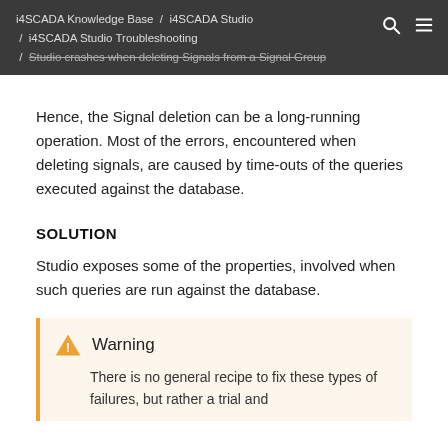i4SCADA Knowledge Base / i4SCADA Studio / i4SCADA Studio Troubleshooting / Studio crashes when deleting Signals from a Signal Group
Hence, the Signal deletion can be a long-running operation. Most of the errors, encountered when deleting signals, are caused by time-outs of the queries executed against the database.
SOLUTION
Studio exposes some of the properties, involved when such queries are run against the database.
Warning
There is no general recipe to fix these types of failures, but rather a trial and